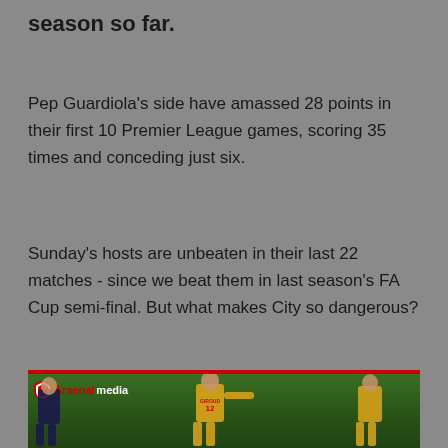season so far.
Pep Guardiola's side have amassed 28 points in their first 10 Premier League games, scoring 35 times and conceding just six.
Sunday's hosts are unbeaten in their last 22 matches - since we beat them in last season's FA Cup semi-final. But what makes City so dangerous?
[Figure (photo): Arsenal players on a football pitch, featuring player with GIROUD 12 jersey in yellow kit, with Arsenal media watermark logo in top left corner]